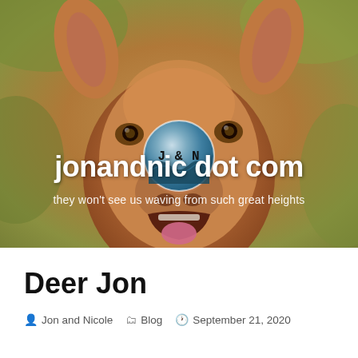[Figure (photo): A close-up photo of a young deer (fawn) facing the camera with its mouth open, set against a blurred green and brown background. A circular logo with 'J & N' text and a wave/landscape graphic is overlaid on the deer's nose area. The site title 'jonandnic dot com' and tagline 'they won't see us waving from such great heights' are overlaid on the image.]
jonandnic dot com
they won't see us waving from such great heights
Deer Jon
Jon and Nicole   Blog   September 21, 2020